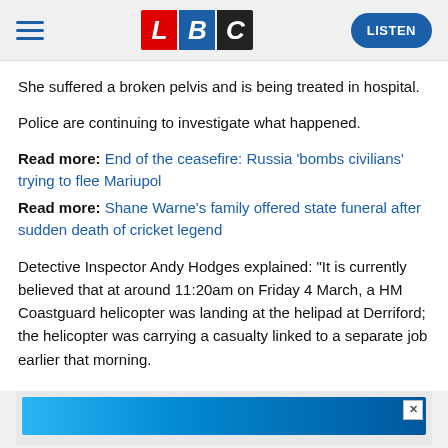LBC — LISTEN
She suffered a broken pelvis and is being treated in hospital.
Police are continuing to investigate what happened.
Read more: End of the ceasefire: Russia 'bombs civilians' trying to flee Mariupol
Read more: Shane Warne's family offered state funeral after sudden death of cricket legend
Detective Inspector Andy Hodges explained: "It is currently believed that at around 11:20am on Friday 4 March, a HM Coastguard helicopter was landing at the helipad at Derriford; the helicopter was carrying a casualty linked to a separate job earlier that morning.
[Figure (other): Advertisement banner with blue gradient background and close button]